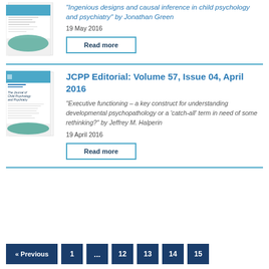[Figure (illustration): Journal cover thumbnail for JCPP showing white document with blue/teal wave design]
"Ingenious designs and causal inference in child psychology and psychiatry" by Jonathan Green
19 May 2016
Read more
[Figure (illustration): Journal cover thumbnail for JCPP Volume 57 Issue 04]
JCPP Editorial: Volume 57, Issue 04, April 2016
"Executive functioning – a key construct for understanding developmental psychopathology or a 'catch-all' term in need of some rethinking?" by Jeffrey M. Halperin
19 April 2016
Read more
« Previous  1  ...  12  13  14  15